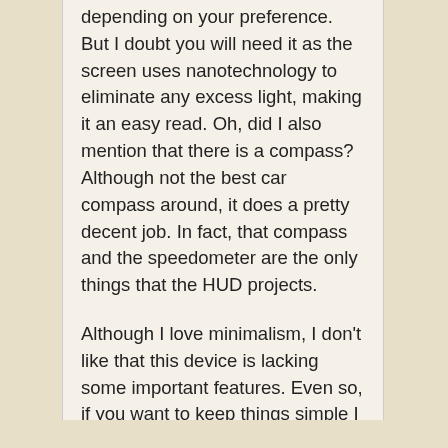depending on your preference. But I doubt you will need it as the screen uses nanotechnology to eliminate any excess light, making it an easy read. Oh, did I also mention that there is a compass? Although not the best car compass around, it does a pretty decent job. In fact, that compass and the speedometer are the only things that the HUD projects.
Although I love minimalism, I don't like that this device is lacking some important features. Even so, if you want to keep things simple I will most definitely recommend you the Dodoro and not only because the name is funny.